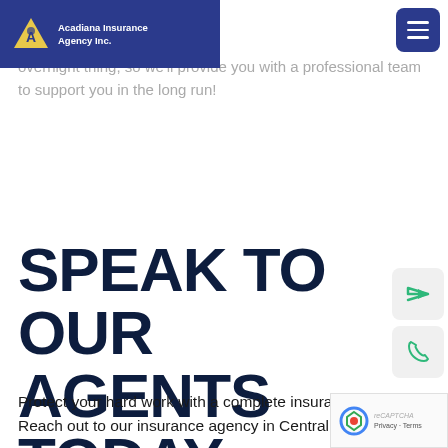Acadiana Insurance Agency Inc.
overnight thing, so we'll provide you with a professional team to support you in the long run!
SPEAK TO OUR AGENTS TODAY
Protect your hard work with a complete insurance policy. Reach out to our insurance agency in Central